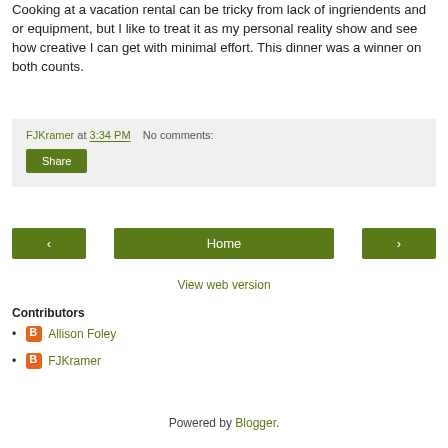Cooking at a vacation rental can be tricky from lack of ingriendents and or equipment, but I like to treat it as my personal reality show and see how creative I can get with minimal effort. This dinner was a winner on both counts.
FJKramer at 3:34 PM   No comments:
Share
< Home >
View web version
Contributors
Allison Foley
FJKramer
Powered by Blogger.